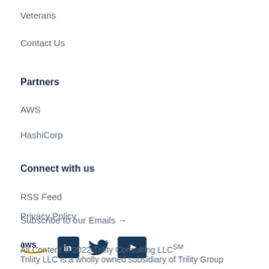Veterans
Contact Us
Partners
AWS
HashiCorp
Connect with us
RSS Feed
Subscribe to our Emails →
[Figure (logo): Social media icons row: AWS logo, LinkedIn, Twitter, YouTube]
Privacy Policy
All Content © 2022 Trility Consulting LLC℠
Trility LLC is a wholly owned subsidiary of Trility Group